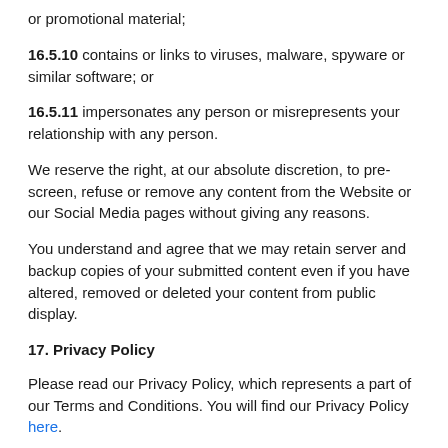or promotional material;
16.5.10 contains or links to viruses, malware, spyware or similar software; or
16.5.11 impersonates any person or misrepresents your relationship with any person.
We reserve the right, at our absolute discretion, to pre-screen, refuse or remove any content from the Website or our Social Media pages without giving any reasons.
You understand and agree that we may retain server and backup copies of your submitted content even if you have altered, removed or deleted your content from public display.
17. Privacy Policy
Please read our Privacy Policy, which represents a part of our Terms and Conditions. You will find our Privacy Policy here.
18. Images